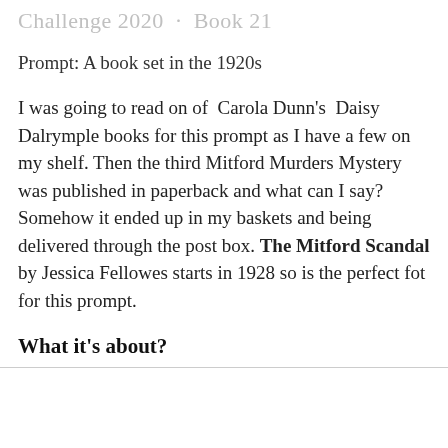Challenge 2020 · Book 21
Prompt: A book set in the 1920s
I was going to read on of Carola Dunn's Daisy Dalrymple books for this prompt as I have a few on my shelf. Then the third Mitford Murders Mystery was published in paperback and what can I say? Somehow it ended up in my baskets and being delivered through the post box. The Mitford Scandal by Jessica Fellowes starts in 1928 so is the perfect fot for this prompt.
What it's about?